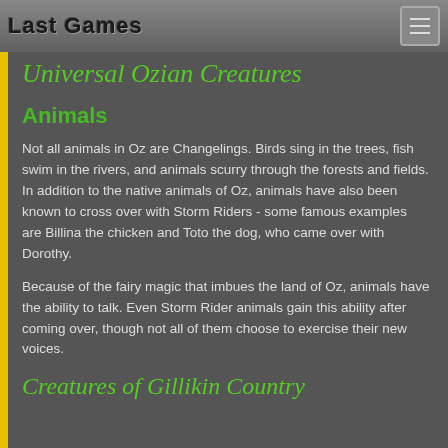Last Games
Universal Ozian Creatures
Animals
Not all animals in Oz are Changelings. Birds sing in the trees, fish swim in the rivers, and animals scurry through the forests and fields. In addition to the native animals of Oz, animals have also been known to cross over with Storm Riders - some famous examples are Billina the chicken and Toto the dog, who came over with Dorothy.
Because of the fairy magic that imbues the land of Oz, animals have the ability to talk. Even Storm Rider animals gain this ability after coming over, though not all of them choose to exercise their new voices.
Creatures of Gillikin Country